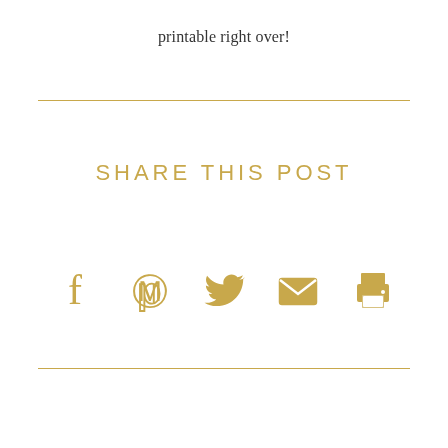printable right over!
SHARE THIS POST
[Figure (infographic): Row of five social sharing icons in gold: Facebook, Pinterest, Twitter, Email (envelope), Print (printer)]